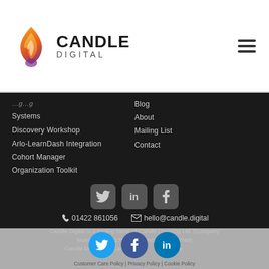[Figure (logo): Candle Digital logo with flame icon and company name]
Systems
Discovery Workshop
Arlo-LearnDash Integration
Cohort Manager
Organization Toolkit
Blog
About
Mailing List
Contact
[Figure (illustration): Social media icons: Twitter, LinkedIn, Facebook in rounded square containers]
01422 861056   hello@candle.digital
Candle Digital is a trading name of Candle Learning Ltd. (Company Number 10465179 | VAT number 295189749) Candle Digital and Candle are registered trademarks of Candle Learning Ltd. Customer Care Policy | Privacy Policy | Cookie Policy